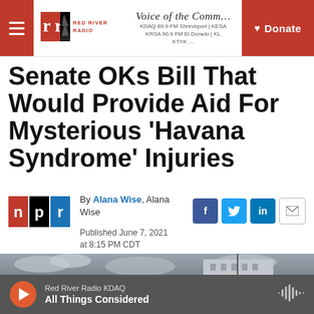Red River Radio | Voice of the Community | KDAQ 89.9 FM Shreveport | KESA | KRSA 90.9 FM El Dorado | KL | KTYK | Donate
Senate OKs Bill That Would Provide Aid For Mysterious 'Havana Syndrome' Injuries
By Alana Wise, Alana Wise
Published June 7, 2021 at 8:15 PM CDT
[Figure (photo): Exterior photo of a government building against a cloudy sky]
Red River Radio KDAQ | All Things Considered